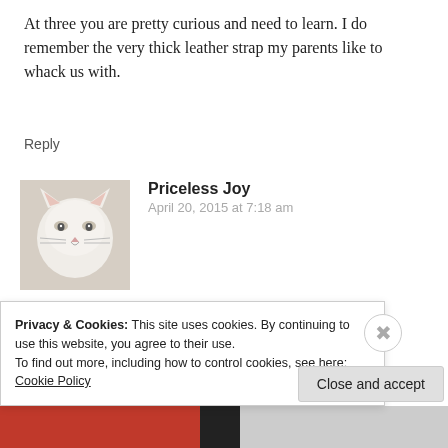At three you are pretty curious and need to learn. I do remember the very thick leather strap my parents like to whack us with.
Reply
Priceless Joy
April 20, 2015 at 7:18 am
[Figure (photo): Avatar photo of a white cat]
I know what you mean about the leather belt. Back then that
Privacy & Cookies: This site uses cookies. By continuing to use this website, you agree to their use.
To find out more, including how to control cookies, see here: Cookie Policy
Close and accept